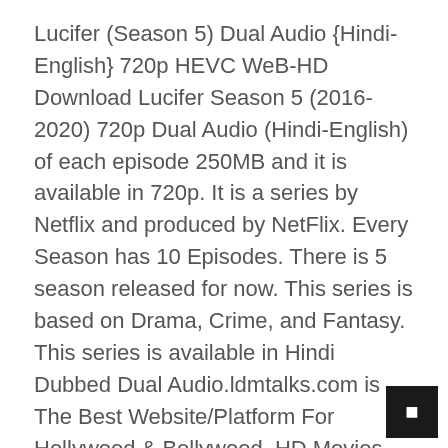Lucifer (Season 5) Dual Audio {Hindi-English} 720p HEVC WeB-HD Download Lucifer Season 5 (2016-2020) 720p Dual Audio (Hindi-English) of each episode 250MB and it is available in 720p. It is a series by Netflix and produced by NetFlix. Every Season has 10 Episodes. There is 5 season released for now. This series is based on Drama, Crime, and Fantasy. This series is available in Hindi Dubbed Dual Audio.ldmtalks.com is The Best Website/Platform For Hollywood & Bollywood  HD Movies. We Provide Direct Google Drive Download Links For Fast And Secure Downloading. Just Click On Download Button And Follow Steps To Download And Watch Movies Online For Free.https://youtu.be/3mTh2joPPj8 DISCLAIMER WATCH TRAILER & SCREENSHOTS BEFORE DOW...